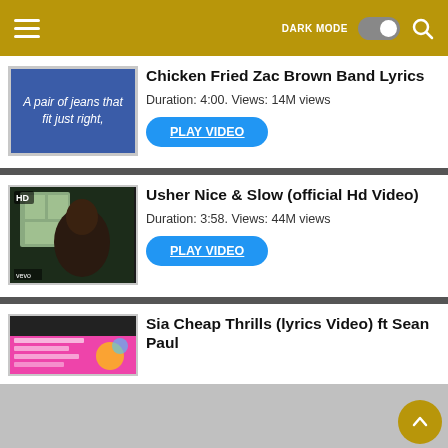DARK MODE [toggle] [search]
[Figure (screenshot): Thumbnail for Chicken Fried Zac Brown Band Lyrics - blue background with text 'A pair of jeans that fit just right,']
Chicken Fried Zac Brown Band Lyrics
Duration: 4:00. Views: 14M views
PLAY VIDEO
[Figure (screenshot): Thumbnail for Usher Nice & Slow official HD video - dark scene with person, HD badge, vevo badge]
Usher Nice & Slow (official Hd Video)
Duration: 3:58. Views: 44M views
PLAY VIDEO
[Figure (screenshot): Thumbnail for Sia Cheap Thrills lyrics video ft Sean Paul - colorful background]
Sia Cheap Thrills (lyrics Video) ft Sean Paul